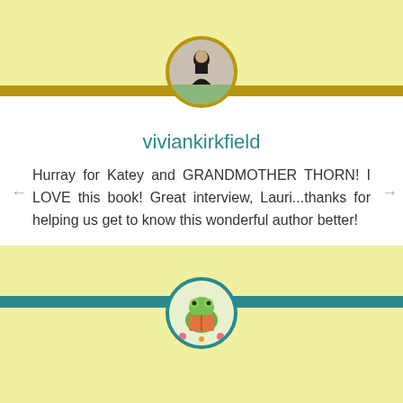[Figure (photo): Circular avatar photo of a woman in a black dress, with gold border, at top center]
viviankirkfield
Hurray for Katey and GRANDMOTHER THORN! I LOVE this book! Great interview, Lauri...thanks for helping us get to know this wonderful author better!
★ Liked by 1 person
↪ REPLY
DECEMBER 16, 2017 AT 8:03 PM
[Figure (illustration): Circular avatar illustration of a frog reading a book, with teal border, at bottom center]